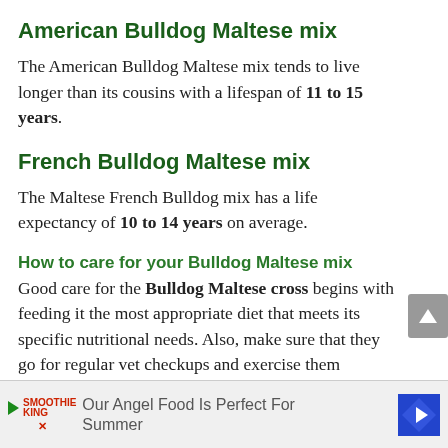American Bulldog Maltese mix
The American Bulldog Maltese mix tends to live longer than its cousins with a lifespan of 11 to 15 years.
French Bulldog Maltese mix
The Maltese French Bulldog mix has a life expectancy of 10 to 14 years on average.
How to care for your Bulldog Maltese mix
Good care for the Bulldog Maltese cross begins with feeding it the most appropriate diet that meets its specific nutritional needs. Also, make sure that they go for regular vet checkups and exercise them adequately to keep them fit. If you do all this and meet their grooming needs, you will have the healthiest
[Figure (other): Advertisement banner: Our Angel Food Is Perfect For Summer, with Smoothie King logo and navigation arrow icon]